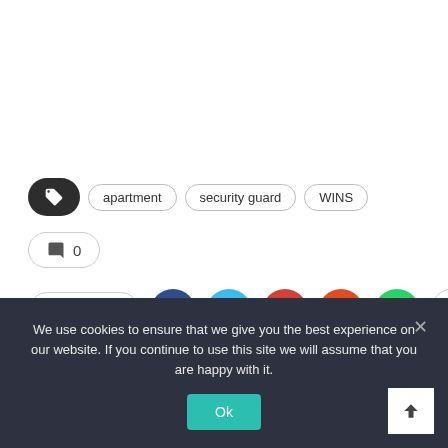apartment | security guard | WINS
0 comments
Share
We use cookies to ensure that we give you the best experience on our website. If you continue to use this site we will assume that you are happy with it.